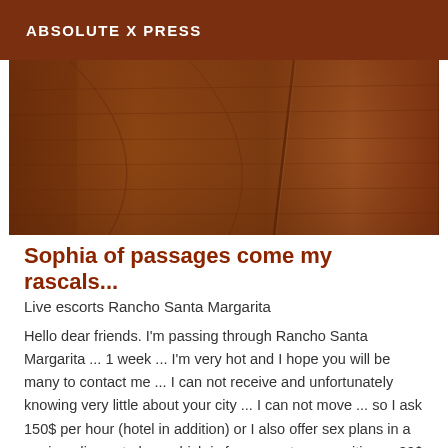ABSOLUTE X PRESS
[Figure (photo): Close-up photograph of a brown wooden surface showing wood grain texture and vertical panel lines]
Sophia of passages come my rascals...
Live escorts Rancho Santa Margarita
Hello dear friends. I'm passing through Rancho Santa Margarita ... 1 week ... I'm very hot and I hope you will be many to contact me ... I can not receive and unfortunately knowing very little about your city ... I can not move ... so I ask 150$ per hour (hotel in addition) or I also offer sex plans in a car in a discreet place which is for my part very exciting ... 80$ blowjob protected and